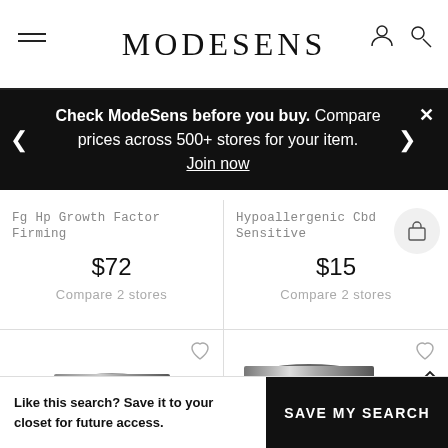MODESENS
Check ModeSens before you buy. Compare prices across 500+ stores for your item. Join now
Fg Hp Growth Factor Firming
$72
Compare 2 stores
Hypoallergenic Cbd Sensitive
$15
Compare 2 stores
[Figure (photo): Product image bottom left - dark cylindrical cosmetic jar]
[Figure (photo): Product image bottom right - dark metallic cosmetic jar]
Like this search? Save it to your closet for future access.
SAVE MY SEARCH